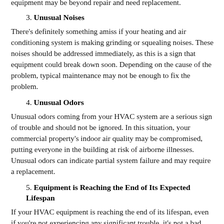equipment may be beyond repair and need replacement.
3. Unusual Noises
There’s definitely something amiss if your heating and air conditioning system is making grinding or squealing noises. These noises should be addressed immediately, as this is a sign that equipment could break down soon. Depending on the cause of the problem, typical maintenance may not be enough to fix the problem.
4. Unusual Odors
Unusual odors coming from your HVAC system are a serious sign of trouble and should not be ignored. In this situation, your commercial property’s indoor air quality may be compromised, putting everyone in the building at risk of airborne illnesses. Unusual odors can indicate partial system failure and may require a replacement.
5. Equipment is Reaching the End of Its Expected Lifespan
If your HVAC equipment is reaching the end of its lifespan, even if you’re not experiencing any significant trouble, it’s not a bad idea to consider planning a replacement before something